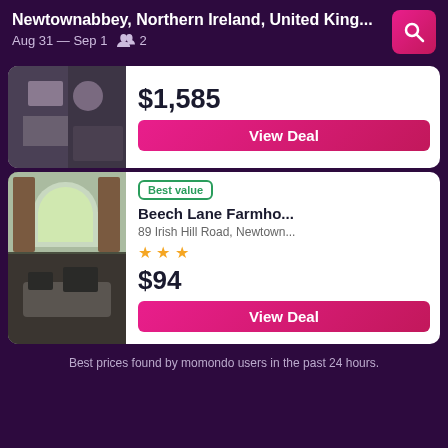Newtownabbey, Northern Ireland, United King... Aug 31 — Sep 1  2
$1,585
View Deal
Best value
Beech Lane Farmho...
89 Irish Hill Road, Newtown...
★★★
$94
View Deal
Best prices found by momondo users in the past 24 hours.